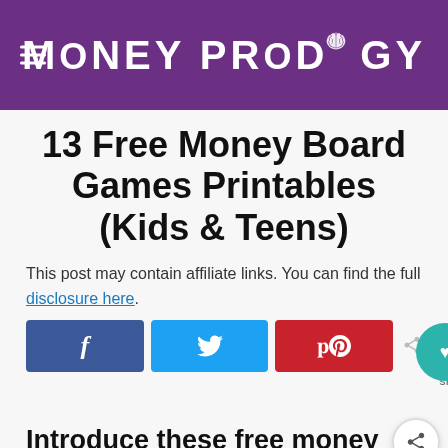MONEY PRODIGY
13 Free Money Board Games Printables (Kids & Teens)
This post may contain affiliate links. You can find the full disclosure here.
[Figure (screenshot): Social share buttons: Facebook (f), Twitter (bird icon), Pinterest (p), with share count badge showing 264 shares]
Introduce these free money